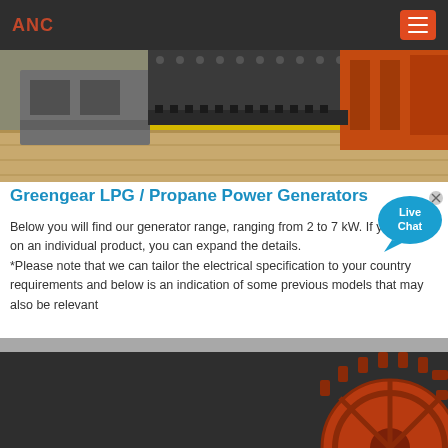ANC
[Figure (photo): Industrial machinery close-up showing a large metal gear or chain mechanism with bolts, gray metal frame on left and orange machinery component on right, on a wooden surface]
Greengear LPG / Propane Power Generators
Below you will find our generator range, ranging from 2 to 7 kW. If you click on an individual product, you can expand the details. *Please note that we can tailor the electrical specification to your country requirements and below is an indication of some previous models that may also be relevant
[Figure (illustration): Live Chat speech bubble icon with blue background and white text reading 'Live Chat', with an X close button in the top-right corner]
[Figure (photo): Bottom portion: dark background with partial view of a red/orange circular gear or wheel component partially visible on the right side]